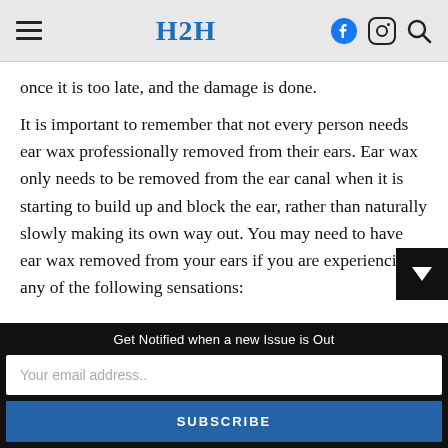H2H
once it is too late, and the damage is done.
It is important to remember that not every person needs ear wax professionally removed from their ears. Ear wax only needs to be removed from the ear canal when it is starting to build up and block the ear, rather than naturally slowly making its own way out. You may need to have ear wax removed from your ears if you are experiencing any of the following sensations:
Get Notified when a new Issue is Out
Your email address..
SUBSCRIBE